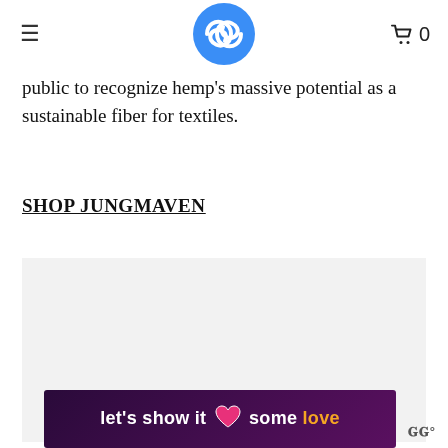≡  [logo]  🛒 0
public to recognize hemp's massive potential as a sustainable fiber for textiles.
SHOP JUNGMAVEN
[Figure (photo): Large light grey image placeholder area with carousel navigation dots below]
[Figure (infographic): Dark purple/magenta advertisement banner reading "let's show it some love" with a pink heart icon and gold-colored word 'love', WW logo at right]